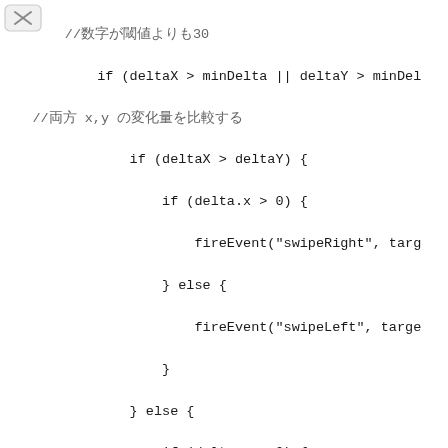[Figure (other): Small rounded rectangle icon with an X inside, top-left corner]
//数字が閾値よりも30
            if (deltaX > minDelta || deltaY > minDel
    //両方 x,y の変化量を比較する
                if (deltaX > deltaY) {
                    if (delta.x > 0) {
                        fireEvent("swipeRight", targ
                    } else {
                        fireEvent("swipeLeft", targe
                    }
                } else {
                    if (delta.y > 0) {
                        fireEvent("swipeDown", targe
                    } else {
                        fireEvent("swipeUp", target)
                    }
                }
            }